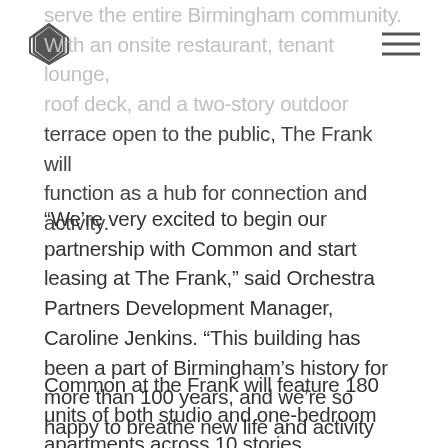[Logo] [Hamburger menu]
serve the entire Birmingham community. With an onsite restaurant, tenant lounge, roof deck, and a two-story outdoor terrace open to the public, The Frank will function as a hub for connection and activity.
“We’re very excited to begin our partnership with Common and start leasing at The Frank,” said Orchestra Partners Development Manager, Caroline Jenkins. “This building has been a part of Birmingham’s history for more than 100 years, and we’re so happy to breathe new life and activity into it.”
Common at the Frank will feature 180 units of both studio and one-bedroom apartments across 10 stories.